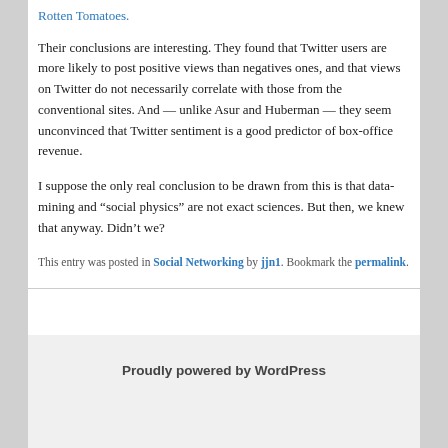Rotten Tomatoes.
Their conclusions are interesting. They found that Twitter users are more likely to post positive views than negatives ones, and that views on Twitter do not necessarily correlate with those from the conventional sites. And — unlike Asur and Huberman — they seem unconvinced that Twitter sentiment is a good predictor of box-office revenue.
I suppose the only real conclusion to be drawn from this is that data-mining and “social physics” are not exact sciences. But then, we knew that anyway. Didn’t we?
This entry was posted in Social Networking by jjn1. Bookmark the permalink.
Proudly powered by WordPress